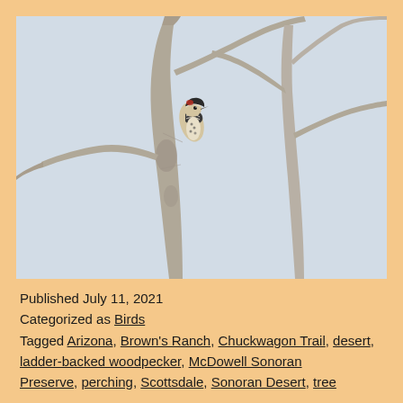[Figure (photo): A ladder-backed woodpecker perched on a bare dead tree trunk with bare branches against a pale blue-grey sky, outdoor nature photograph]
Published July 11, 2021
Categorized as Birds
Tagged Arizona, Brown's Ranch, Chuckwagon Trail, desert, ladder-backed woodpecker, McDowell Sonoran Preserve, perching, Scottsdale, Sonoran Desert, tree